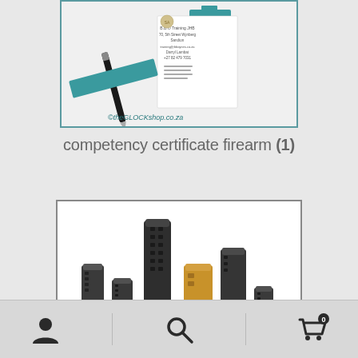[Figure (photo): Photo of competency certificate firearm materials including a pen, teal card, and document with text, watermarked with ©theGLOCKshop.co.za]
competency certificate firearm (1)
[Figure (photo): Photo of multiple firearm magazines of different sizes and colors (black and tan/FDE) displayed on white background]
Navigation bar with user, search, and cart icons